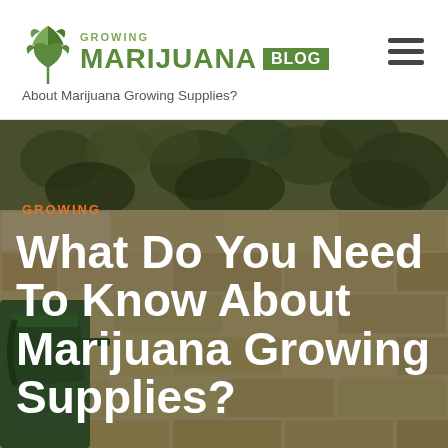[Figure (logo): Growing Marijuana Blog logo with green leaf icon, text MARIJUANA in dark green uppercase with BLOG in white on green background]
[Figure (other): Hamburger menu icon (three horizontal lines) in dark gray, top right of header]
About Marijuana Growing Supplies?
[Figure (photo): Background photo showing cannabis plants over a brick wall, with a green watering can visible in the lower left. Warm brown and green tones.]
GROWING
What Do You Need To Know About Marijuana Growing Supplies?